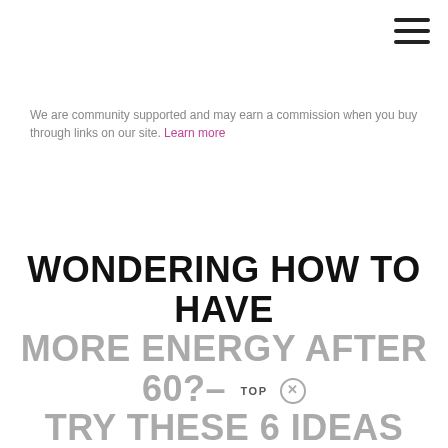≡
We are community supported and may earn a commission when you buy through links on our site. Learn more
WONDERING HOW TO HAVE MORE ENERGY AFTER 60? - TRY THESE 6 IDEAS